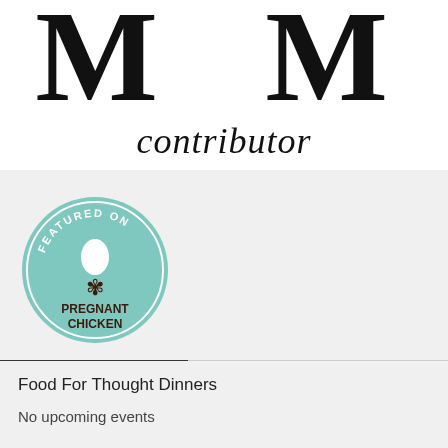[Figure (logo): Large stylized letters 'M' in serif font with cursive script 'contributor' below, black on white background]
[Figure (logo): Circular badge in teal color reading 'FEATURED ON' at top with an egg icon and decorative snowflake, and 'PREGNANT CHICKEN' in bold dark text]
Food For Thought Dinners
No upcoming events